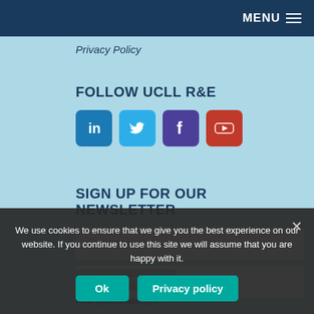MENU
Privacy Policy
FOLLOW UCLL R&E
[Figure (other): Social media icons: LinkedIn (blue), Twitter (light blue), Facebook (purple), YouTube (red)]
SIGN UP FOR OUR NEWSLETTER
First Name
Email
SUBSCRIBE
We use cookies to ensure that we give you the best experience on our website. If you continue to use this site we will assume that you are happy with it.
Ok
Privacy policy
Credits
Food photo created by f...